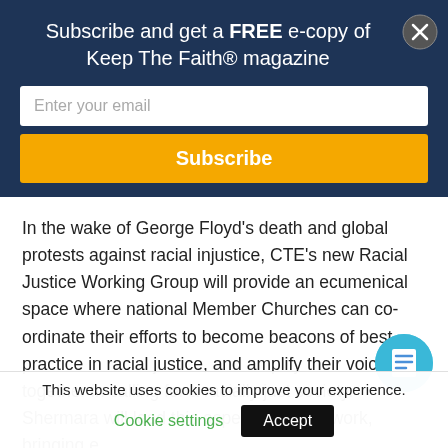Subscribe and get a FREE e-copy of Keep The Faith® magazine
Enter your email
Subscribe
In the wake of George Floyd's death and global protests against racial injustice, CTE's new Racial Justice Working Group will provide an ecumenical space where national Member Churches can co-ordinate their efforts to become beacons of best practice in racial justice, and amplify their voice together in calling for a racially just society. Shermara will lead this aspect of CTE's work, bringing e...ce
This website uses cookies to improve your experience.
Cookie settings
Accept